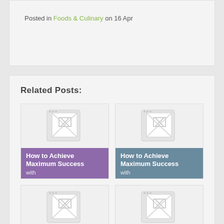Posted in Foods & Culinary on 16 Apr
Related Posts:
[Figure (illustration): Placeholder thumbnail image for 'How to Achieve Maximum Success with']
How to Achieve Maximum Success with
[Figure (illustration): Placeholder thumbnail image for 'How to Achieve Maximum Success with']
How to Achieve Maximum Success with
[Figure (illustration): Placeholder thumbnail image for 'Interesting Research on - Things You']
Interesting Research on - Things You
[Figure (illustration): Placeholder thumbnail image for 'Interesting Research on - Things You']
Interesting Research on - Things You